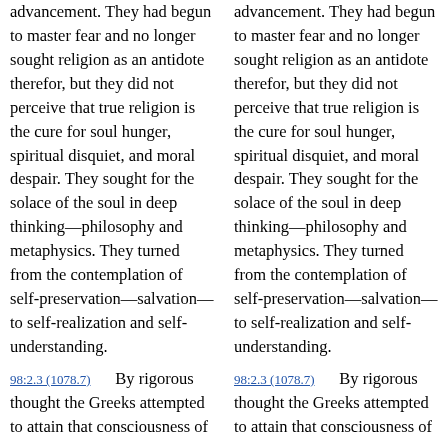advancement. They had begun to master fear and no longer sought religion as an antidote therefor, but they did not perceive that true religion is the cure for soul hunger, spiritual disquiet, and moral despair. They sought for the solace of the soul in deep thinking—philosophy and metaphysics. They turned from the contemplation of self-preservation—salvation—to self-realization and self-understanding.
98:2.3 (1078.7) By rigorous thought the Greeks attempted to attain that consciousness of
advancement. They had begun to master fear and no longer sought religion as an antidote therefor, but they did not perceive that true religion is the cure for soul hunger, spiritual disquiet, and moral despair. They sought for the solace of the soul in deep thinking—philosophy and metaphysics. They turned from the contemplation of self-preservation—salvation—to self-realization and self-understanding.
98:2.3 (1078.7) By rigorous thought the Greeks attempted to attain that consciousness of